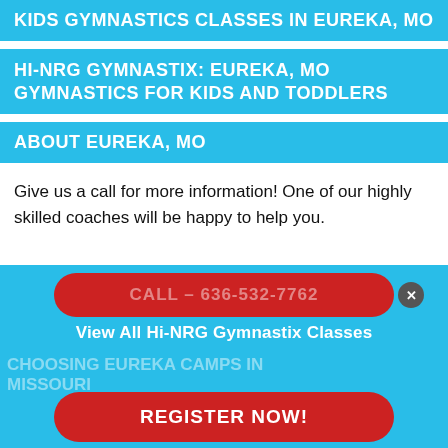KIDS GYMNASTICS CLASSES IN EUREKA, MO
HI-NRG GYMNASTIX: EUREKA, MO GYMNASTICS FOR KIDS AND TODDLERS
ABOUT EUREKA, MO
Give us a call for more information! One of our highly skilled coaches will be happy to help you.
[Figure (screenshot): Blue overlay popup with a red rounded call button showing 'CALL – 636-532-7762' (dimmed), a close X button, 'View All Hi-NRG Gymnastix Classes' text in white, partially visible section header 'CHOOSING EUREKA CAMPS IN MISSOURI', and a red rounded 'REGISTER NOW!' button at the bottom.]